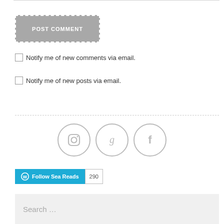[Figure (other): POST COMMENT button with dashed white border on gray background]
Notify me of new comments via email.
Notify me of new posts via email.
[Figure (other): Three social media icon circles: Instagram, Goodreads, Facebook — gray outlined circles with gray icons]
[Figure (other): Follow Sea Reads WordPress follow button (blue) with count badge showing 290]
Search …